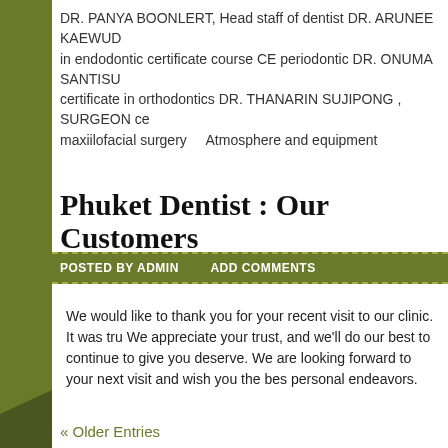DR. PANYA BOONLERT, Head staff of dentist DR. ARUNEE KAEWUD in endodontic certificate course CE periodontic DR. ONUMA SANTISU certificate in orthodontics DR. THANARIN SUJIPONG , SURGEON ce maxiilofacial surgery    Atmosphere and equipment
Phuket Dentist : Our Customers
POSTED BY ADMIN    ADD COMMENTS
We would like to thank you for your recent visit to our clinic. It was tru We appreciate your trust, and we'll do our best to continue to give you deserve. We are looking forward to your next visit and wish you the bes personal endeavors.
« Older Entries